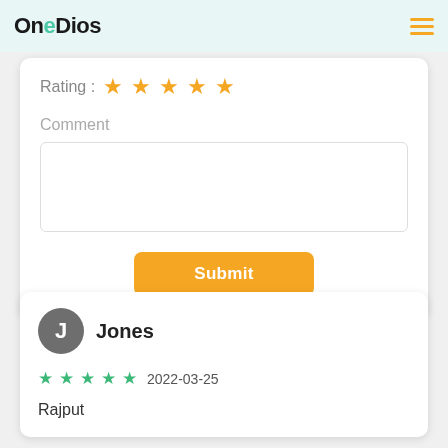OneDios
Rating : ★★★★★
Comment
Submit
Jones
★★★★★ 2022-03-25
Rajput